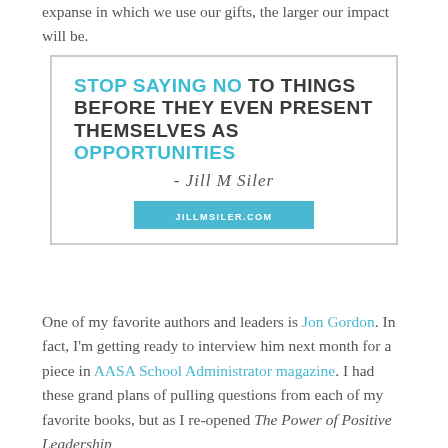expanse in which we use our gifts, the larger our impact will be.
[Figure (illustration): Quote box with teal and dark bold text reading 'STOP SAYING NO TO THINGS BEFORE THEY EVEN PRESENT THEMSELVES AS OPPORTUNITIES' followed by signature '- Jill M Siler' and URL bar 'JILLMSILER.COM']
One of my favorite authors and leaders is Jon Gordon. In fact, I'm getting ready to interview him next month for a piece in AASA School Administrator magazine. I had these grand plans of pulling questions from each of my favorite books, but as I re-opened The Power of Positive Leadership